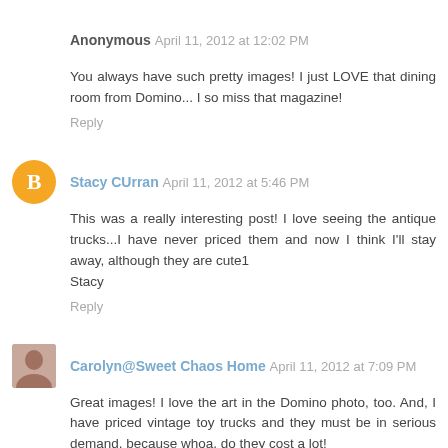Anonymous  April 11, 2012 at 12:02 PM
You always have such pretty images! I just LOVE that dining room from Domino... I so miss that magazine!
Reply
Stacy CUrran  April 11, 2012 at 5:46 PM
This was a really interesting post! I love seeing the antique trucks...I have never priced them and now I think I'll stay away, although they are cute1
Stacy
Reply
Carolyn@Sweet Chaos Home  April 11, 2012 at 7:09 PM
Great images! I love the art in the Domino photo, too. And, I have priced vintage toy trucks and they must be in serious demand, because whoa, do they cost a lot!